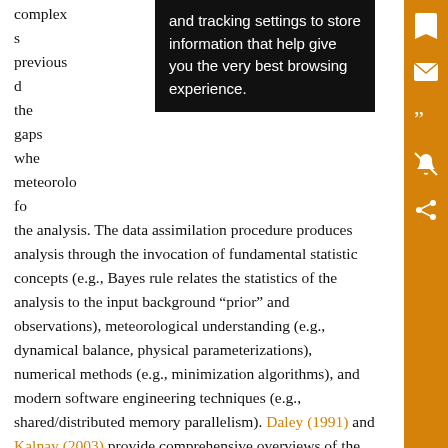complex s... previous d... in the gaps whe... ding meteorolo... s for the analysis. The data assimilation procedure produces analysis through the invocation of fundamental statistical concepts (e.g., Bayes rule relates the statistics of the analysis to the input background “prior” and observations), meteorological understanding (e.g., dynamical balance, physical parameterizations), numerical methods (e.g., minimization algorithms), and modern software engineering techniques (e.g., shared/distributed memory parallelism). Daley (1991) and Kalnay (2003) provide comprehensive overviews of the data assimilation challenge.

Modern operational data assimilation systems ingest
[Figure (screenshot): A black tooltip/popup overlay showing white text: 'and tracking settings to store information that help give you the very best browsing experience.']